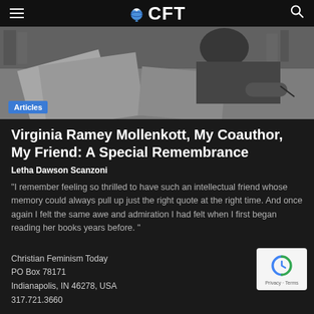CFT
[Figure (photo): Black and white photo of a person writing at a desk with papers and books]
Articles
Virginia Ramey Mollenkott, My Coauthor, My Friend: A Special Remembrance
Letha Dawson Scanzoni
"I remember feeling so thrilled to have such an intellectual friend whose memory could always pull up just the right quote at the right time. And once again I felt the same awe and admiration I had felt when I first began reading her books years before. "
Christian Feminism Today
PO Box 78171
Indianapolis, IN 46278, USA
317.721.3660